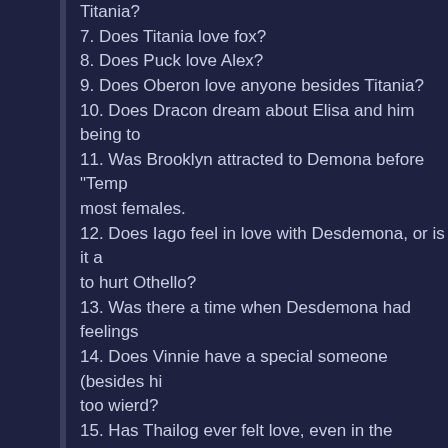Titania?
7. Does Titania love fox?
8. Does Puck love Alex?
9. Does Oberon love anyone besides Titania?
10. Does Dracon dream about Elisa and him being to
11. Was Brooklyn attracted to Demona before "Temp most females.
12. Does Iago feel in love with Desdemona, or is it a to hurt Othello?
13. Was there a time when Desdemona had feelings
14. Does Vinnie have a special someone (besides hi too wierd?
15. Has Thailog ever felt love, even in the slightest w
16. Was Malcolm and Elaina's wedding more out of l
17. Do Banquo and Florence have a thing for each o
18. Does Cagney have a special kitty friend, or just B
19. Has the Magus been yerning for Kathern all of his If yes., thats pretty sad.
20. And, somewhere deep deep down, both Goliath a one, now and forever. Right? I better be. And this wo episodes besides dark ages right?